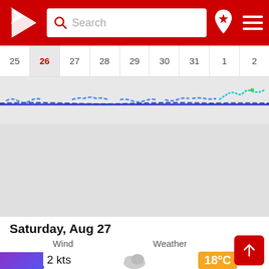[Figure (screenshot): Red app header with logo (white triangle/arrow icon on red), search bar with magnifying glass icon and 'Search' placeholder, star-pin location icon, and hamburger menu icon]
[Figure (other): Calendar date strip showing dates 25, 26 (highlighted/today in red), 27, 28, 29, 30, 31, 1, 2 with wave/tide chart lines below in blue and purple]
[Figure (continuous-plot): Gray area below calendar with no visible content - empty chart body area]
Saturday, Aug 27
Wind
Weather
2 kts
18°C